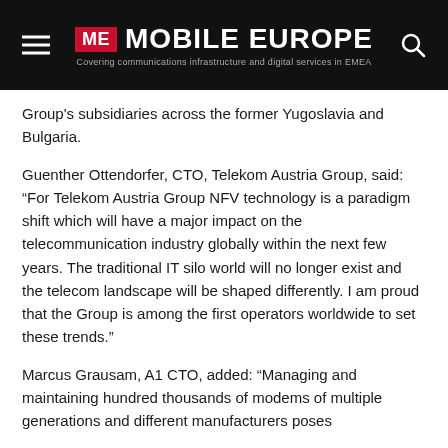ME MOBILE EUROPE – Covering communications infrastructure and digital services in EMEA
Group's subsidiaries across the former Yugoslavia and Bulgaria.
Guenther Ottendorfer, CTO, Telekom Austria Group, said: “For Telekom Austria Group NFV technology is a paradigm shift which will have a major impact on the telecommunication industry globally within the next few years. The traditional IT silo world will no longer exist and the telecom landscape will be shaped differently. I am proud that the Group is among the first operators worldwide to set these trends.”
Marcus Grausam, A1 CTO, added: “Managing and maintaining hundred thousands of modems of multiple generations and different manufacturers poses